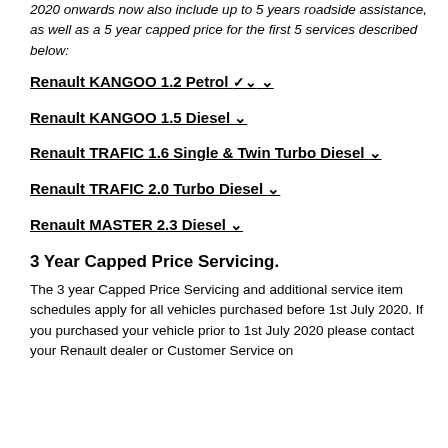2020 onwards now also include up to 5 years roadside assistance, as well as a 5 year capped price for the first 5 services described below:
Renault KANGOO 1.2 Petrol ▾
Renault KANGOO 1.5 Diesel ▾
Renault TRAFIC 1.6 Single & Twin Turbo Diesel ▾
Renault TRAFIC 2.0 Turbo Diesel ▾
Renault MASTER 2.3 Diesel ▾
3 Year Capped Price Servicing.
The 3 year Capped Price Servicing and additional service item schedules apply for all vehicles purchased before 1st July 2020. If you purchased your vehicle prior to 1st July 2020 please contact your Renault dealer or Customer Service on